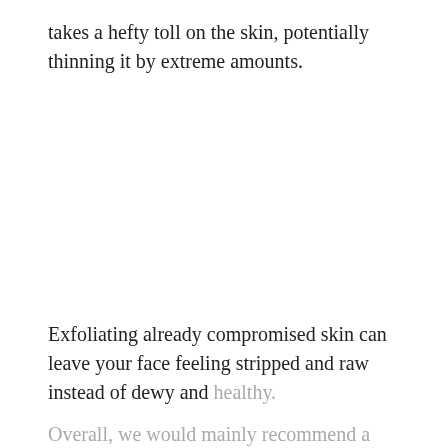takes a hefty toll on the skin, potentially thinning it by extreme amounts.
Exfoliating already compromised skin can leave your face feeling stripped and raw instead of dewy and healthy.
Overall, we would mainly recommend a